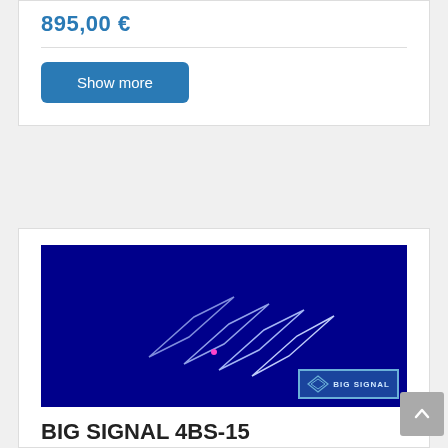895,00 €
Show more
[Figure (illustration): 3D rendering of 4 panel antenna elements on dark blue background with BIG SIGNAL logo watermark]
BIG SIGNAL 4BS-15
4 element 21 MHz (10,37 dBi - 25,47 dB)
1160,00 €